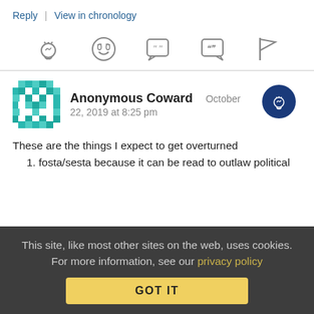Reply | View in chronology
[Figure (other): Row of action icons: lightbulb (insight), laughing face (funny), speech bubble with quote marks (quote), speech bubble with double quote (quote), flag (report)]
Anonymous Coward   October 22, 2019 at 8:25 pm
These are the things I expect to get overturned
fosta/sesta because it can be read to outlaw political
This site, like most other sites on the web, uses cookies. For more information, see our privacy policy  GOT IT